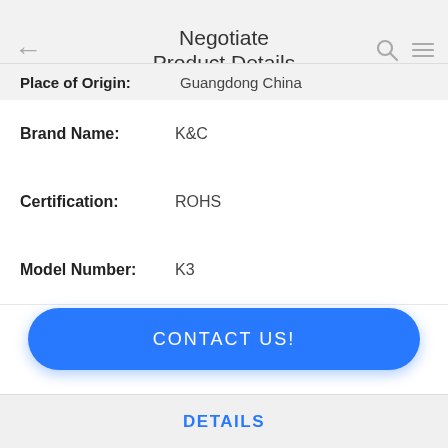Negotiate Product Details
| Field | Value |
| --- | --- |
| Place of Origin: | Guangdong China |
| Brand Name: | K&C |
| Certification: | ROHS |
| Model Number: | K3 |
CONTACT US!
DETAILS
Similar Products
Anodized Small LED